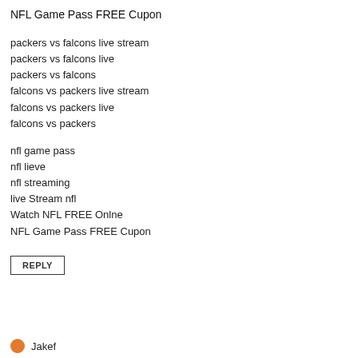NFL Game Pass FREE Cupon
packers vs falcons live stream
packers vs falcons live
packers vs falcons
falcons vs packers live stream
falcons vs packers live
falcons vs packers
nfl game pass
nfl lieve
nfl streaming
live Stream nfl
Watch NFL FREE Onlne
NFL Game Pass FREE Cupon
REPLY
Jakef